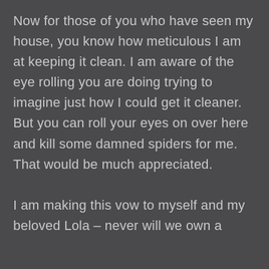Now for those of you who have seen my house, you know how meticulous I am at keeping it clean. I am aware of the eye rolling you are doing trying to imagine just how I could get it cleaner. But you can roll your eyes on over here and kill some damned spiders for me. That would be much appreciated.

I am making this vow to myself and my beloved Lola – never will we own a